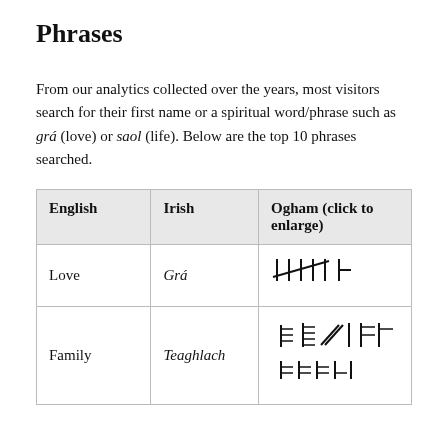Phrases
From our analytics collected over the years, most visitors search for their first name or a spiritual word/phrase such as grá (love) or saol (life). Below are the top 10 phrases searched.
| English | Irish | Ogham (click to enlarge) |
| --- | --- | --- |
| Love | Grá | ᚛᚜ |
| Family | Teaghlach | ᚛᚜ |